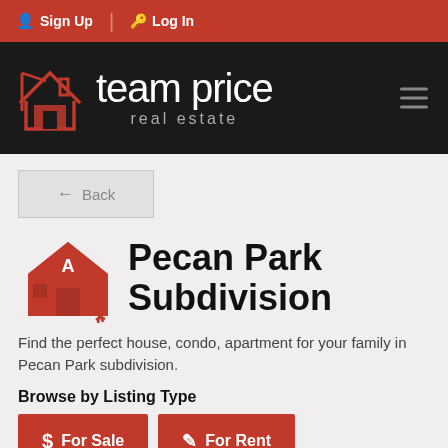Sign Up  Log In
[Figure (logo): Team Price Real Estate logo with house icon on black background]
← Back
Pecan Park Subdivision
Find the perfect house, condo, apartment for your family in Pecan Park subdivision.
Browse by Listing Type
For Sale   For Rent